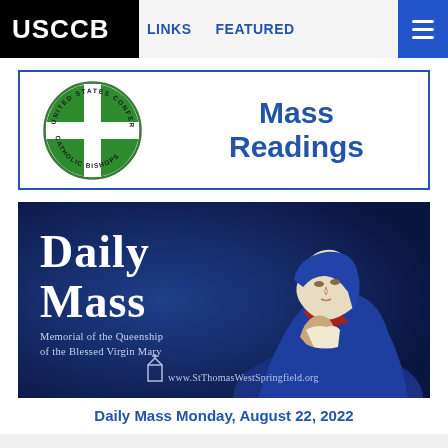USCCB  LINKS  FEATURED
[Figure (logo): USCCB Mass Readings banner with United States Conference of Catholic Bishops circular green logo on left and 'Mass Readings' text in blue on right, bordered in blue]
[Figure (illustration): Daily Mass promotional image with dark blue background showing painting of the Blessed Virgin Mary praying with eyes downcast, wearing blue cloak and cream head covering. Text reads 'Daily Mass' in large white serif font, 'Memorial of the Queenship of the Blessed Virgin Mary' below, and 'www.StThomasWestSpringfield.org' at bottom.]
Daily Mass Monday, August 22, 2022